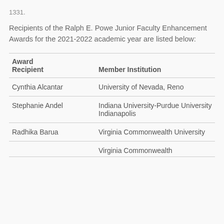Recipients of the Ralph E. Powe Junior Faculty Enhancement Awards for the 2021-2022 academic year are listed below:
| Award Recipient | Member Institution |
| --- | --- |
| Cynthia Alcantar | University of Nevada, Reno |
| Stephanie Andel | Indiana University-Purdue University Indianapolis |
| Radhika Barua | Virginia Commonwealth University |
| [truncated] | Virginia Commonwealth |